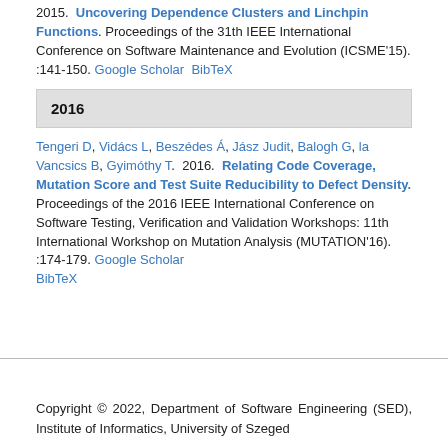2015.  Uncovering Dependence Clusters and Linchpin Functions. Proceedings of the 31th IEEE International Conference on Software Maintenance and Evolution (ICSME'15). :141-150. Google Scholar  BibTeX
2016
Tengeri D, Vidács L, Beszédes Á, Jász Judit, Balogh G, la Vancsics B, Gyimóthy T.  2016.  Relating Code Coverage, Mutation Score and Test Suite Reducibility to Defect Density. Proceedings of the 2016 IEEE International Conference on Software Testing, Verification and Validation Workshops: 11th International Workshop on Mutation Analysis (MUTATION'16). :174-179. Google Scholar BibTeX
Copyright © 2022, Department of Software Engineering (SED), Institute of Informatics, University of Szeged